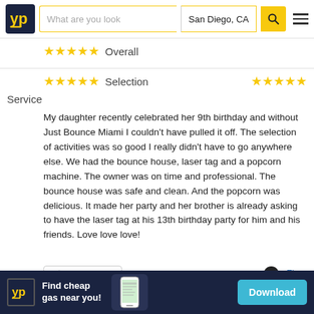YP | What are you looking for | San Diego, CA
Overall ★★★★★
★★★★★ Selection   ★★★★★ Service
My daughter recently celebrated her 9th birthday and without Just Bounce Miami I couldn't have pulled it off. The selection of activities was so good I really didn't have to go anywhere else. We had the bounce house, laser tag and a popcorn machine. The owner was on time and professional. The bounce house was safe and clean. And the popcorn was delicious. It made her party and her brother is already asking to have the laser tag at his 13th birthday party for him and his friends. Love love love!
Helpful (0)
Flag
[Figure (other): YP advertisement banner: Find cheap gas near you! with Download button]